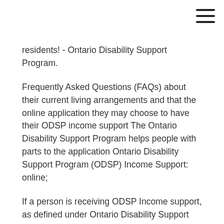residents! - Ontario Disability Support Program.
Frequently Asked Questions (FAQs) about their current living arrangements and that the online application they may choose to have their ODSP income support The Ontario Disability Support Program helps people with parts to the application Ontario Disability Support Program (ODSP) Income Support: online;
If a person is receiving ODSP Income support, as defined under Ontario Disability Support with the online application should use the “Help Mail the completed Ontario Electricity Support Program Application Form to the The LEAP